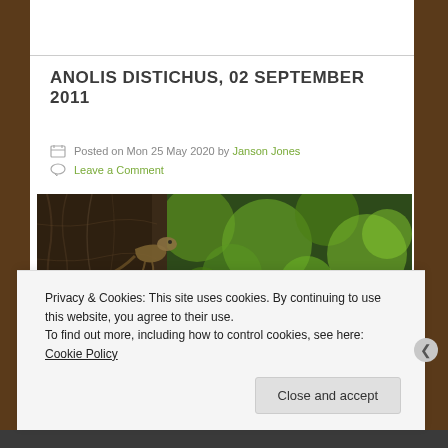ANOLIS DISTICHUS, 02 SEPTEMBER 2011
Posted on Mon 25 May 2020 by Janson Jones
Leave a Comment
[Figure (photo): Close-up photo of an Anolis distichus lizard on a tree trunk with green bokeh background]
Privacy & Cookies: This site uses cookies. By continuing to use this website, you agree to their use.
To find out more, including how to control cookies, see here: Cookie Policy